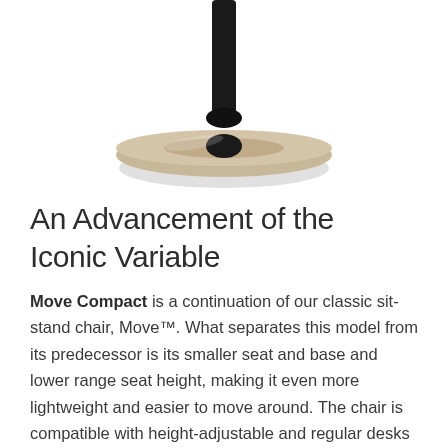[Figure (photo): Close-up photo of the base of the Move Compact sit-stand chair — a beige/tan circular disc seat base with a dark metal central column/pole extending upward, viewed from slightly above.]
An Advancement of the Iconic Variable
Move Compact is a continuation of our classic sit-stand chair, Move™. What separates this model from its predecessor is its smaller seat and base and lower range seat height, making it even more lightweight and easier to move around. The chair is compatible with height-adjustable and regular desks alike and is optimal for the home office or any other place where you might want variation. The rubber fixture under